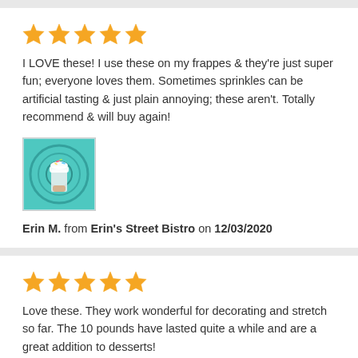[Figure (other): 5 yellow star rating]
I LOVE these! I use these on my frappes & they're just super fun; everyone loves them. Sometimes sprinkles can be artificial tasting & just plain annoying; these aren't. Totally recommend & will buy again!
[Figure (photo): Photo of a frappuccino drink with colorful sprinkles on top, teal/blue background]
Erin M. from Erin's Street Bistro on 12/03/2020
[Figure (other): 5 yellow star rating]
Love these. They work wonderful for decorating and stretch so far. The 10 pounds have lasted quite a while and are a great addition to desserts!